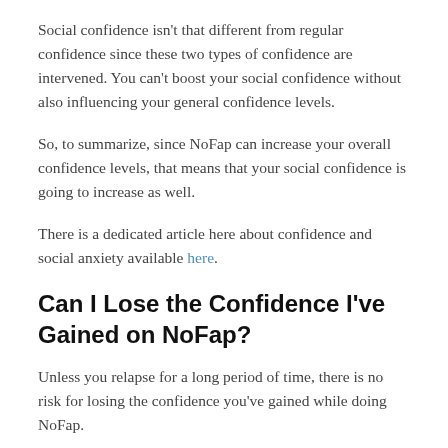Social confidence isn't that different from regular confidence since these two types of confidence are intervened. You can't boost your social confidence without also influencing your general confidence levels.
So, to summarize, since NoFap can increase your overall confidence levels, that means that your social confidence is going to increase as well.
There is a dedicated article here about confidence and social anxiety available here.
Can I Lose the Confidence I've Gained on NoFap?
Unless you relapse for a long period of time, there is no risk for losing the confidence you've gained while doing NoFap.